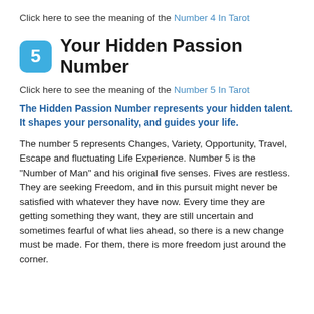Click here to see the meaning of the Number 4 In Tarot
5 Your Hidden Passion Number
Click here to see the meaning of the Number 5 In Tarot
The Hidden Passion Number represents your hidden talent. It shapes your personality, and guides your life.
The number 5 represents Changes, Variety, Opportunity, Travel, Escape and fluctuating Life Experience. Number 5 is the "Number of Man" and his original five senses. Fives are restless. They are seeking Freedom, and in this pursuit might never be satisfied with whatever they have now. Every time they are getting something they want, they are still uncertain and sometimes fearful of what lies ahead, so there is a new change must be made. For them, there is more freedom just around the corner.